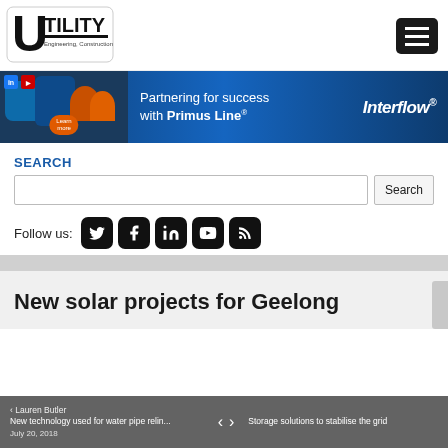[Figure (logo): Utility Magazine logo - Engineering, Construction & Maintenance]
[Figure (infographic): Interflow banner ad: Partnering for success with Primus Line - showing pipe infrastructure workers]
SEARCH
Follow us:
New solar projects for Geelong
< Lauren Butler  New technology used for water pipe relin... | < > | Storage solutions to stabilise the grid